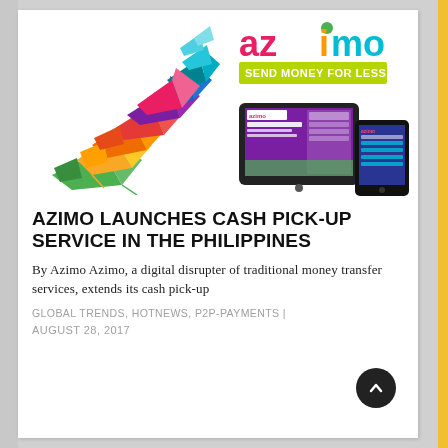[Figure (illustration): Colorful origami paper birds/cranes arranged in a swirling flock pattern on the left side of the image header]
[Figure (logo): Azimo logo with colorful letters and tagline 'SEND MONEY FOR LESS' on a yellow-green background]
[Figure (screenshot): Tablet and smartphone showing the Azimo website/app interface]
AZIMO LAUNCHES CASH PICK-UP SERVICE IN THE PHILIPPINES
By Azimo Azimo, a digital disrupter of traditional money transfer services, extends its cash pick-up
GLOBAL TRENDS, HOTNEWS, P2P-PAYMENTS |
AUGUST 28, 2017